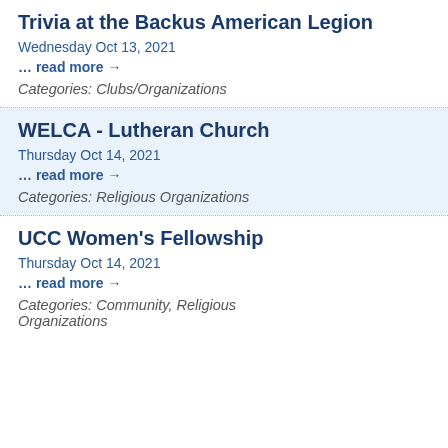Trivia at the Backus American Legion
Wednesday Oct 13, 2021
… read more →
Categories: Clubs/Organizations
WELCA - Lutheran Church
Thursday Oct 14, 2021
… read more →
Categories: Religious Organizations
UCC Women's Fellowship
Thursday Oct 14, 2021
… read more →
Categories: Community, Religious Organizations